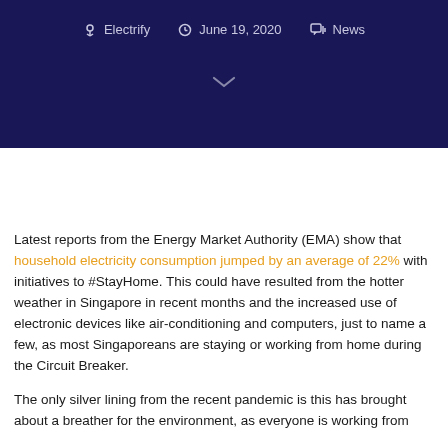Electrify  June 19, 2020  News
Latest reports from the Energy Market Authority (EMA) show that household electricity consumption jumped by an average of 22% with initiatives to #StayHome. This could have resulted from the hotter weather in Singapore in recent months and the increased use of electronic devices like air-conditioning and computers, just to name a few, as most Singaporeans are staying or working from home during the Circuit Breaker.
The only silver lining from the recent pandemic is this has brought about a breather for the environment, as everyone is working from